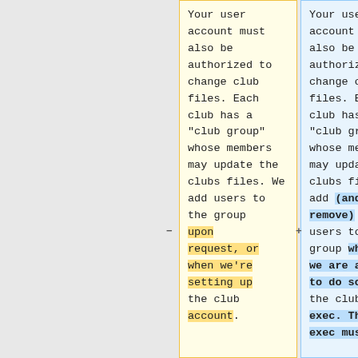Your user account must also be authorized to change club files. Each club has a "club group" whose members may update the clubs files. We add users to the group upon request, or when we're setting up the club account.
Your user account must also be authorized to change club files. Each club has a "club group" whose members may update the clubs files. We add (and remove) users to the group when we are asked to do so by the club exec. The exec must